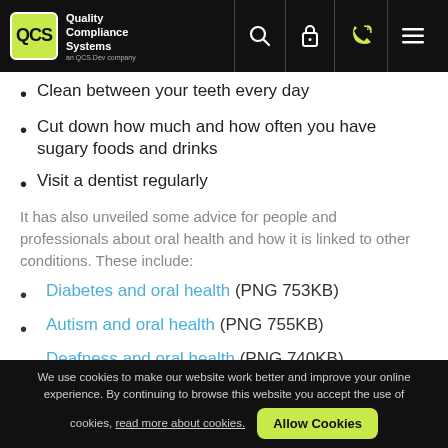Quality Compliance Systems
Clean between your teeth every day
Cut down how much and how often you have sugary foods and drinks
Visit a dentist regularly
It has also unveiled some advice for people and professionals about oral health and how it is linked to other conditions. These include:
Diabetes and oral health (PNG 753KB)
Autism and oral health (PNG 755KB)
Deafness and oral health (PNG 740KB)
We use cookies to make our website work better and improve your online experience. By continuing to browse this website you accept the use of cookies, read more about cookies. Allow Cookies